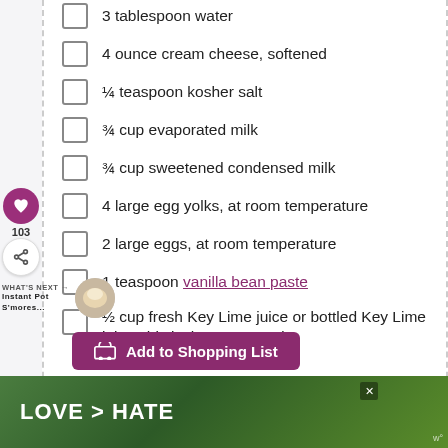3 tablespoon water
4 ounce cream cheese, softened
¼ teaspoon kosher salt
¾ cup evaporated milk
¾ cup sweetened condensed milk
4 large egg yolks, at room temperature
2 large eggs, at room temperature
1 teaspoon vanilla bean paste
½ cup fresh Key Lime juice or bottled Key Lime juice, this is the one I used